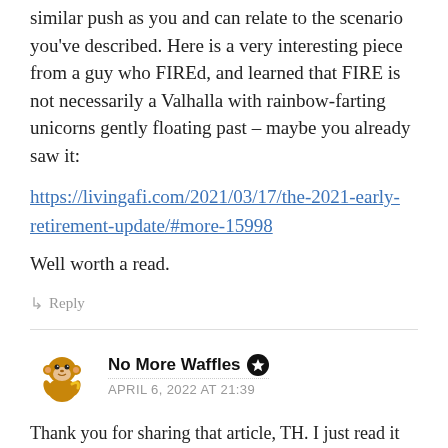similar push as you and can relate to the scenario you've described. Here is a very interesting piece from a guy who FIREd, and learned that FIRE is not necessarily a Valhalla with rainbow-farting unicorns gently floating past – maybe you already saw it:
https://livingafi.com/2021/03/17/the-2021-early-retirement-update/#more-15998
Well worth a read.
↳ Reply
No More Waffles ★
APRIL 6, 2022 AT 21:39
Thank you for sharing that article, TH. I just read it and found it very valuable.